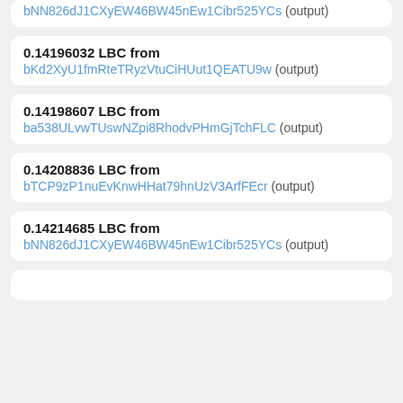bNN826dJ1CXyEW46BW45nEw1Cibr525YCs (output)
0.14196032 LBC from bKd2XyU1fmRteTRyzVtuCiHUut1QEATU9w (output)
0.14198607 LBC from ba538ULvwTUswNZpi8RhodvPHmGjTchFLC (output)
0.14208836 LBC from bTCP9zP1nuEvKnwHHat79hnUzV3ArfFEcr (output)
0.14214685 LBC from bNN826dJ1CXyEW46BW45nEw1Cibr525YCs (output)